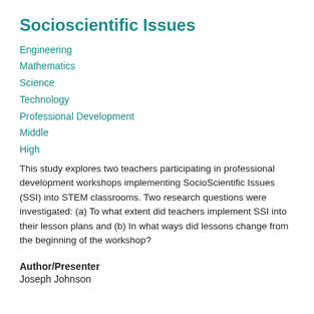Socioscientific Issues
Engineering
Mathematics
Science
Technology
Professional Development
Middle
High
This study explores two teachers participating in professional development workshops implementing SocioScientific Issues (SSI) into STEM classrooms. Two research questions were investigated: (a) To what extent did teachers implement SSI into their lesson plans and (b) In what ways did lessons change from the beginning of the workshop?
Author/Presenter
Joseph Johnson